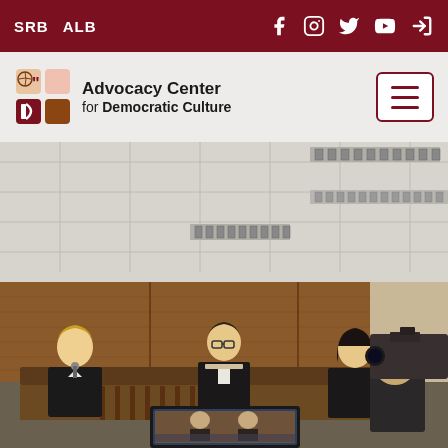SRB  ALB  [social media icons: Facebook, Instagram, Twitter, YouTube, Login]
[Figure (logo): Advocacy Center for Democratic Culture logo with abstract colored shapes icon]
[Figure (photo): Courtroom scene with three people (two women and one man) seated at a judicial bench in front of a wooden panel wall, with a camera operator in the foreground right, and ceiling tiles visible above.]